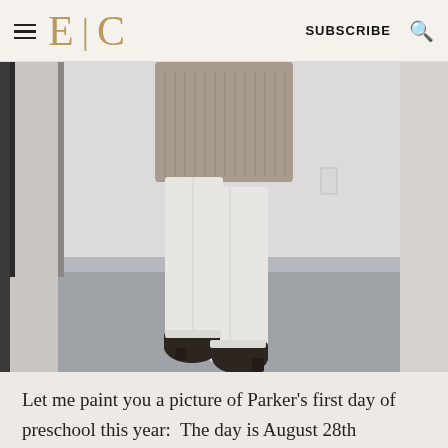E | C   SUBSCRIBE
[Figure (photo): Fashion photo showing the lower body of a person wearing white skinny jeans, a knit sweater, and dark ankle boots, standing on a gray concrete floor in a bright white room.]
Let me paint you a picture of Parker's first day of preschool this year:  The day is August 28th